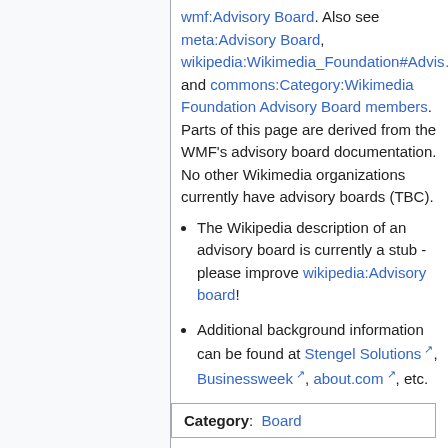wmf:Advisory Board. Also see meta:Advisory Board, wikipedia:Wikimedia_Foundation#Advisory and commons:Category:Wikimedia Foundation Advisory Board members. Parts of this page are derived from the WMF's advisory board documentation. No other Wikimedia organizations currently have advisory boards (TBC).
The Wikipedia description of an advisory board is currently a stub - please improve wikipedia:Advisory board!
Additional background information can be found at Stengel Solutions, Businessweek, about.com, etc.
Category:  Board